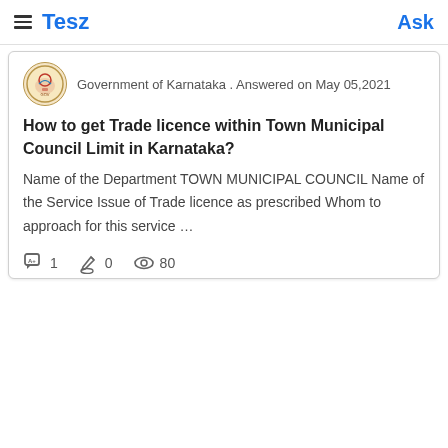Tesz   Ask
Government of Karnataka . Answered on May 05,2021
How to get Trade licence within Town Municipal Council Limit in Karnataka?
Name of the Department TOWN MUNICIPAL COUNCIL Name of the Service Issue of Trade licence as prescribed Whom to approach for this service ...
1   0   80